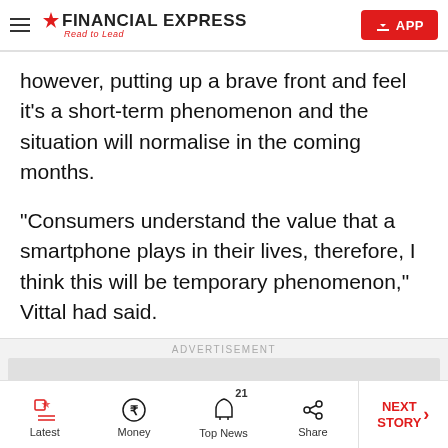FINANCIAL EXPRESS – Read to Lead | APP
however, putting up a brave front and feel it's a short-term phenomenon and the situation will normalise in the coming months.
“Consumers understand the value that a smartphone plays in their lives, therefore, I think this will be temporary phenomenon,” Vittal had said.
ADVERTISEMENT
Latest | Money | Top News 21 | Share | NEXT STORY